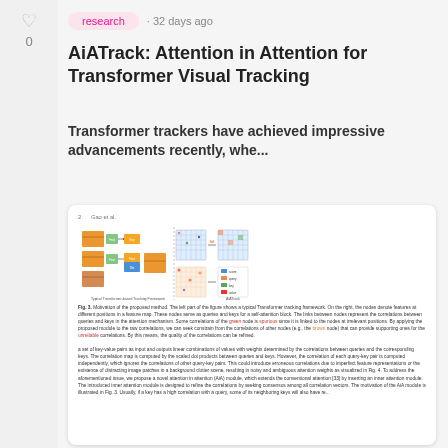0
research · 32 days ago
AiATrack: Attention in Attention for Transformer Visual Tracking
Transformer trackers have achieved impressive advancements recently, whe...
[Figure (illustration): Screenshot of a research paper page showing a diagram of the proposed AiATrack method (Fig. 3), a figure caption, and body text describing attention in attention module for transformer visual tracking.]